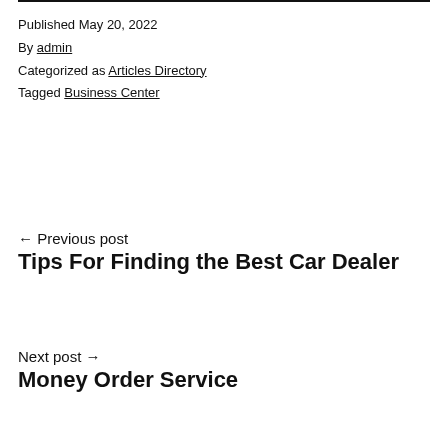Published May 20, 2022
By admin
Categorized as Articles Directory
Tagged Business Center
← Previous post
Tips For Finding the Best Car Dealer
Next post →
Money Order Service